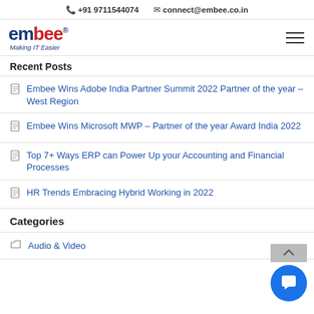📞 +91 9711544074  ✉ connect@embee.co.in
[Figure (logo): Embee logo with tagline 'Making IT Easier']
Recent Posts
Embee Wins Adobe India Partner Summit 2022 Partner of the year – West Region
Embee Wins Microsoft MWP – Partner of the year Award India 2022
Top 7+ Ways ERP can Power Up your Accounting and Financial Processes
HR Trends Embracing Hybrid Working in 2022
Categories
Audio & Video